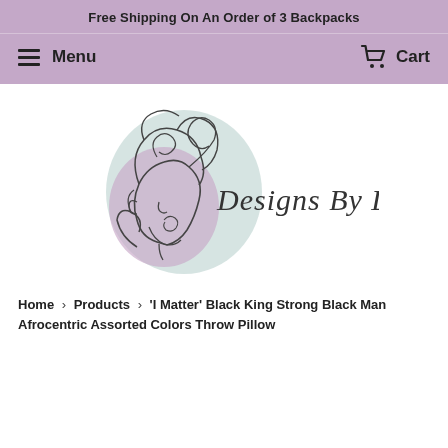Free Shipping On An Order of 3 Backpacks
Menu   Cart
[Figure (logo): Designs By Dij logo: line-art illustration of a woman's head with afro hair on a teal/mauve oval background, with cursive text 'Designs By Dij']
Home > Products > 'I Matter' Black King Strong Black Man Afrocentric Assorted Colors Throw Pillow